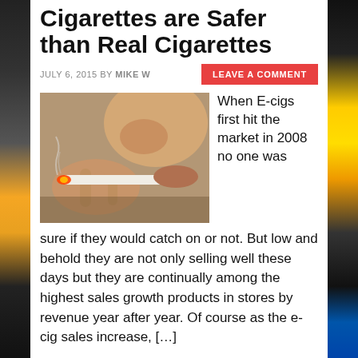Cigarettes are Safer than Real Cigarettes
JULY 6, 2015 BY MIKE W
LEAVE A COMMENT
[Figure (photo): Close-up photo of a person smoking an e-cigarette, holding it between fingers, with glowing red tip.]
When E-cigs first hit the market in 2008 no one was sure if they would catch on or not. But low and behold they are not only selling well these days but they are continually among the highest sales growth products in stores by revenue year after year. Of course as the e-cig sales increase, […]